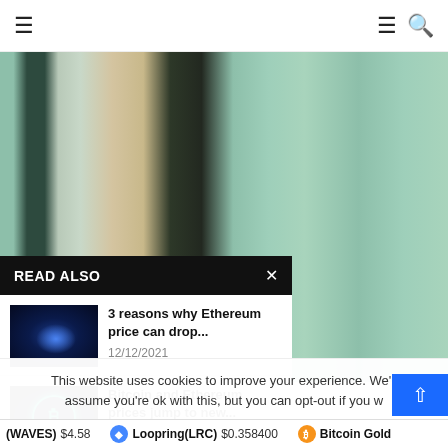≡  ≡ 🔍
[Figure (photo): Abstract vertical striped background with green, dark, beige, and teal color bands]
READ ALSO
[Figure (photo): Two robots/figures with Ethereum logo glowing blue between them]
3 reasons why Ethereum price can drop...
12/12/2021
[Figure (photo): Bitcoin logo glowing in teal/green circle on dark background]
Bitcoin and Ethereum prices jump to new...
09/11/2021
This website uses cookies to improve your experience. We'll assume you're ok with this, but you can opt-out if you w
(WAVES) $4.58   Loopring(LRC) $0.358400   Bitcoin Gold